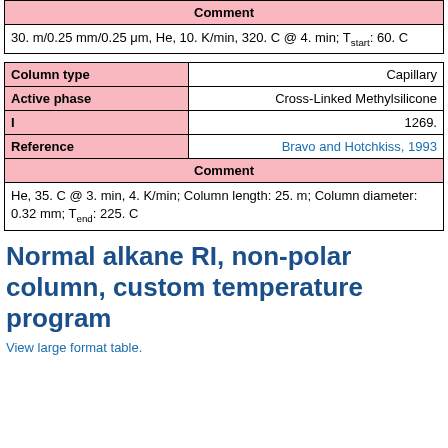|  |  |
| --- | --- |
| Comment |  |
| 30. m/0.25 mm/0.25 μm, He, 10. K/min, 320. C @ 4. min; Tstart: 60. C |  |
| Column type | Capillary |
| --- | --- |
| Active phase | Cross-Linked Methylsilicone |
| I | 1269. |
| Reference | Bravo and Hotchkiss, 1993 |
| Comment |  |
| He, 35. C @ 3. min, 4. K/min; Column length: 25. m; Column diameter: 0.32 mm; Tend: 225. C |  |
Normal alkane RI, non-polar column, custom temperature program
View large format table.